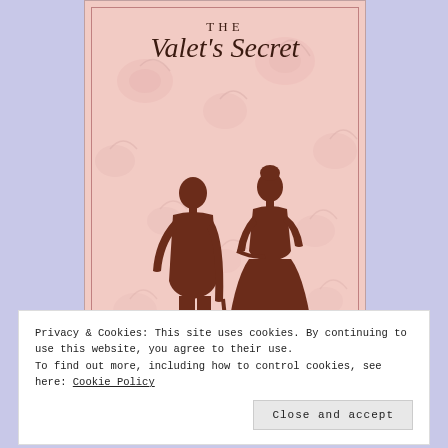[Figure (illustration): Book cover for 'The Valet's Secret' showing two Regency-era silhouettes (a man with a cane and a woman in a gown) against a pink floral background with decorative border. Title text reads 'THE' and 'Valet's Secret' in script font.]
Privacy & Cookies: This site uses cookies. By continuing to use this website, you agree to their use.
To find out more, including how to control cookies, see here: Cookie Policy
Close and accept
Releases March 8, 2022